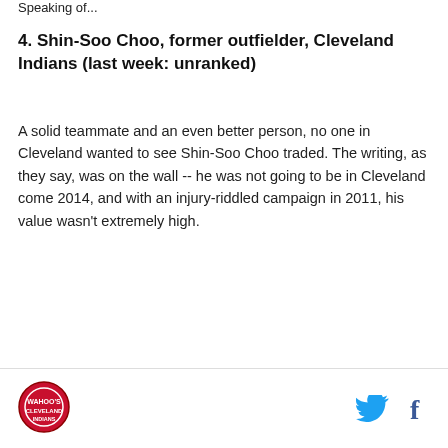Speaking of...
4. Shin-Soo Choo, former outfielder, Cleveland Indians (last week: unranked)
A solid teammate and an even better person, no one in Cleveland wanted to see Shin-Soo Choo traded. The writing, as they say, was on the wall -- he was not going to be in Cleveland come 2014, and with an injury-riddled campaign in 2011, his value wasn't extremely high.
Cleveland Indians logo | Twitter icon | Facebook icon